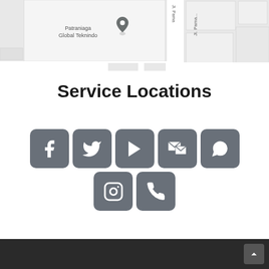[Figure (map): Street map showing location of Patraniaga Global Teknindo with a pin marker, near Jl. Pama road]
Service Locations
[Figure (infographic): Seven social media / contact icons in gray rounded squares: Facebook, Twitter, YouTube, Email, WhatsApp (top row), Instagram, Phone (bottom row)]
Dark footer bar with back-to-top arrow button